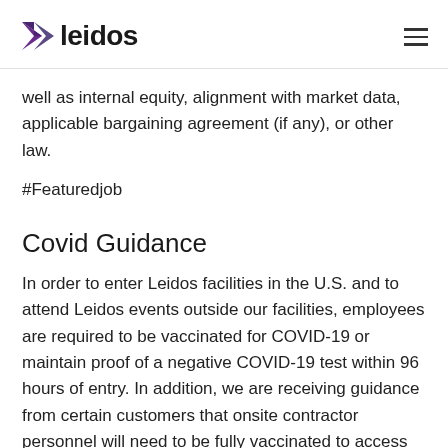leidos
well as internal equity, alignment with market data, applicable bargaining agreement (if any), or other law.
#Featuredjob
Covid Guidance
In order to enter Leidos facilities in the U.S. and to attend Leidos events outside our facilities, employees are required to be vaccinated for COVID-19 or maintain proof of a negative COVID-19 test within 96 hours of entry. In addition, we are receiving guidance from certain customers that onsite contractor personnel will need to be fully vaccinated to access customer facilities. If you are